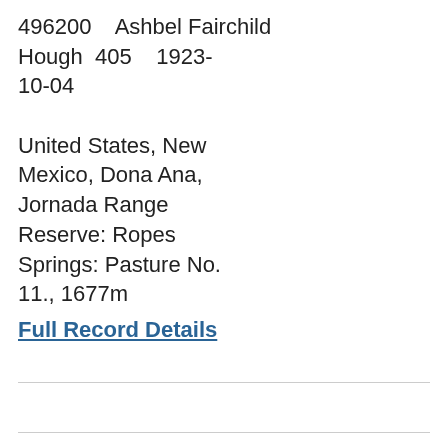496200    Ashbel Fairchild Hough   405    1923-10-04   United States, New Mexico, Dona Ana, Jornada Range Reserve: Ropes Springs: Pasture No. 11., 1677m
Full Record Details